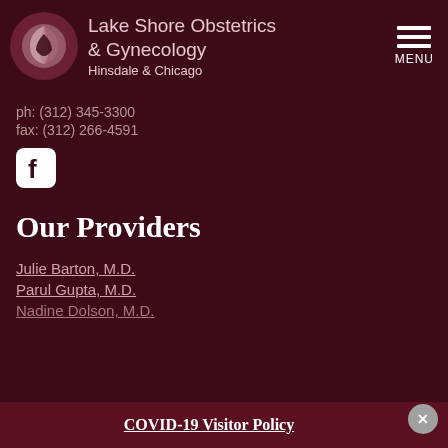Lake Shore Obstetrics & Gynecology Hinsdale & Chicago
ph: (312) 345-3300
fax: (312) 266-4591
[Figure (logo): Facebook logo icon - white F on rounded square, dark background]
Our Providers
Julie Barton, M.D.
Parul Gupta, M.D.
Nadine Dolson, M.D.
COVID-19 Visitor Policy